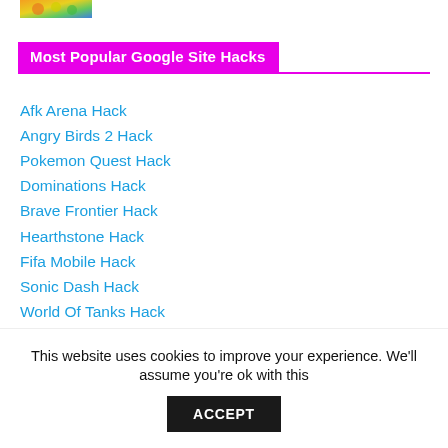[Figure (photo): Small colorful image thumbnail in the top left corner showing animals or nature scene]
Most Popular Google Site Hacks
Afk Arena Hack
Angry Birds 2 Hack
Pokemon Quest Hack
Dominations Hack
Brave Frontier Hack
Hearthstone Hack
Fifa Mobile Hack
Sonic Dash Hack
World Of Tanks Hack
Temple Run Hack
Garena Free Fire Hack
Asphalt 9 Legends Hack
This website uses cookies to improve your experience. We'll assume you're ok with this
ACCEPT